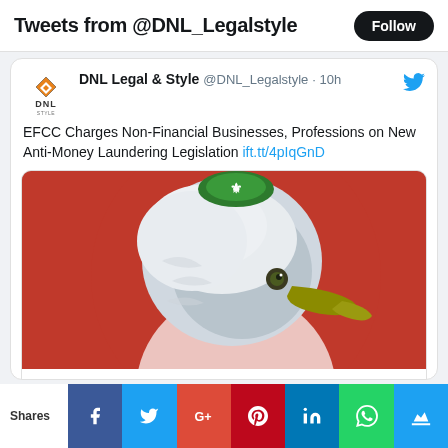Tweets from @DNL_Legalstyle
DNL Legal & Style @DNL_Legalstyle · 10h
EFCC Charges Non-Financial Businesses, Professions on New Anti-Money Laundering Legislation ift.tt/4pIqGnD
[Figure (photo): Eagle head close-up in front of a red circle, with a green Nigerian coat of arms emblem visible at top. Associated with EFCC (Economic and Financial Crimes Commission).]
dnllegalandstyle.com
EFCC Charges Non-Financial Businesses,
Shares | Facebook | Twitter | Google+ | Pinterest | LinkedIn | WhatsApp | Crown